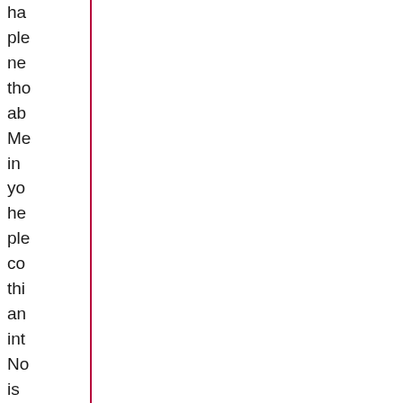ha
ple
ne
tho
ab
Me
in
yo
he
ple
co
thi
an
int
No
is
the
tim
to